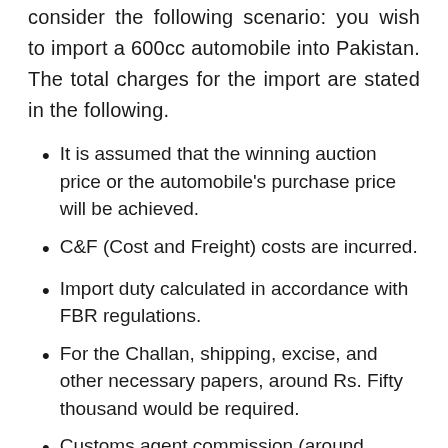consider the following scenario: you wish to import a 600cc automobile into Pakistan. The total charges for the import are stated in the following.
It is assumed that the winning auction price or the automobile's purchase price will be achieved.
C&F (Cost and Freight) costs are incurred.
Import duty calculated in accordance with FBR regulations.
For the Challan, shipping, excise, and other necessary papers, around Rs. Fifty thousand would be required.
Customs agent commission (around 15000-20000).
The cost of a passport (around 10000 to 15000).
If you wish to transport your automobile from Karachi to another city, you will pay